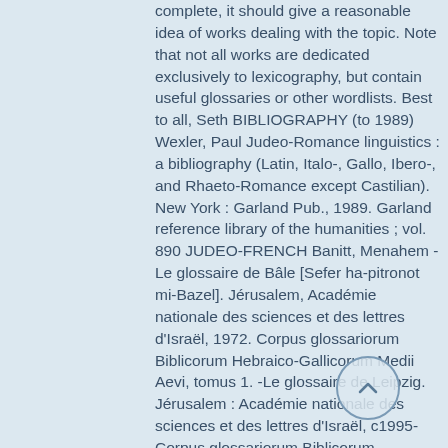complete, it should give a reasonable idea of works dealing with the topic. Note that not all works are dedicated exclusively to lexicography, but contain useful glossaries or other wordlists. Best to all, Seth BIBLIOGRAPHY (to 1989) Wexler, Paul Judeo-Romance linguistics : a bibliography (Latin, Italo-, Gallo, Ibero-, and Rhaeto-Romance except Castilian). New York : Garland Pub., 1989. Garland reference library of the humanities ; vol. 890 JUDEO-FRENCH Banitt, Menahem - Le glossaire de Bâle [Sefer ha-pitronot mi-Bazel]. Jérusalem, Académie nationale des sciences et des lettres d'Israël, 1972. Corpus glossariorum Biblicorum Hebraico-Gallicorum Medii Aevi, tomus 1. -Le glossaire de Leipzig. Jérusalem : Académie nationale des sciences et des lettres d'Israël, c1995- Corpus glossariorum Biblicorum Hebraico-Gallicorum Medii Aevi ; tomus 2 Blondheim, David S. -Essai d'un vocabulaire comperatif des parlers Romans des juifs au moyen age, in Romania, vol.49, pp.1-43, 344-388, 5 569, Paris, 1923. Levy, Raphael -